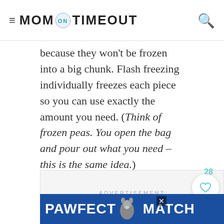MOM ON TIMEOUT
because they won't be frozen into a big chunk. Flash freezing individually freezes each piece so you can use exactly the amount you need. (Think of frozen peas. You open the bag and pour out what you need – this is the same idea.)
[Figure (screenshot): ADVERTISEMENT placeholder box with like button (28 likes) and search button]
[Figure (screenshot): PAWFECT MATCH advertisement banner at bottom]